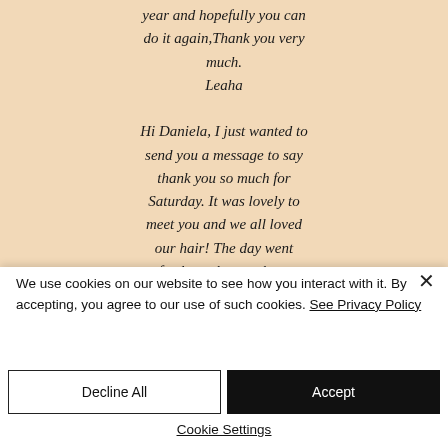year and hopefully you can do it again,Thank you very much. Leaha Hi Daniela, I just wanted to send you a message to say thank you so much for Saturday. It was lovely to meet you and we all loved our hair! The day went perfectly as the weather was
We use cookies on our website to see how you interact with it. By accepting, you agree to our use of such cookies. See Privacy Policy
Decline All
Accept
Cookie Settings